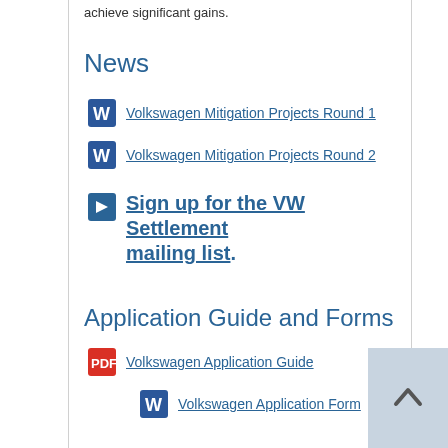achieve significant gains.
News
Volkswagen Mitigation Projects Round 1
Volkswagen Mitigation Projects Round 2
Sign up for the VW Settlement mailing list.
Application Guide and Forms
Volkswagen Application Guide
Volkswagen Application Form